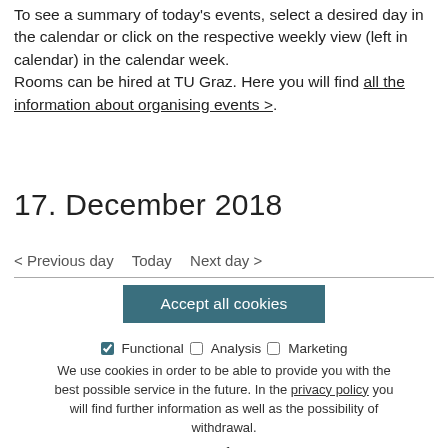To see a summary of today's events, select a desired day in the calendar or click on the respective weekly view (left in calendar) in the calendar week. Rooms can be hired at TU Graz. Here you will find all the information about organising events >.
17. December 2018
< Previous day   Today   Next day >
Accept all cookies
Cookie-Categories: ☑ Functional □ Analysis □ Marketing
We use cookies in order to be able to provide you with the best possible service in the future. In the privacy policy you will find further information as well as the possibility of withdrawal.
Save preferences